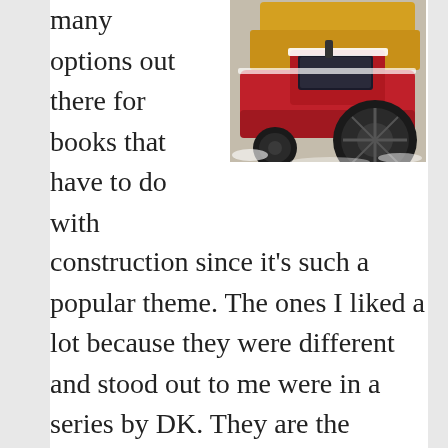[Figure (photo): Photo of a toy red tractor/construction vehicle on a textured surface, with a yellow dump truck visible in the upper portion]
many options out there for books that have to do with construction since it's such a popular theme. The ones I liked a lot because they were different and stood out to me were in a series by DK. They are the Wheelie Board Books and most of them have to do with construction. They have a Digger, Big Dump Truck, Tractor